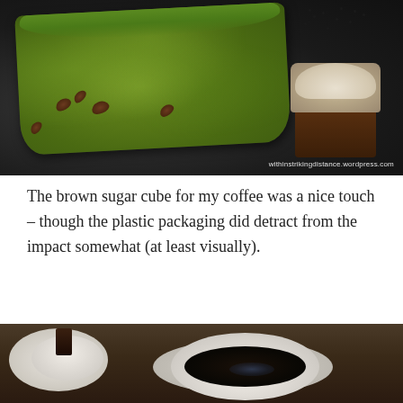[Figure (photo): Close-up photo of two desserts on a dark slate plate. On the left is a matcha (green tea) roll cake dusted with green powder and decorated with small chocolate beans. On the right is a chocolate layered dessert with cream and dark sprinkles on top. Watermark reads: withinstrikingdistance.wordpress.com]
The brown sugar cube for my coffee was a nice touch – though the plastic packaging did detract from the impact somewhat (at least visually).
[Figure (photo): Close-up photo of a cup of black coffee in a white ceramic cup on a saucer, placed on a wooden table. Another cup/saucer is visible in the background on the left with what appears to be a brown sugar cube.]